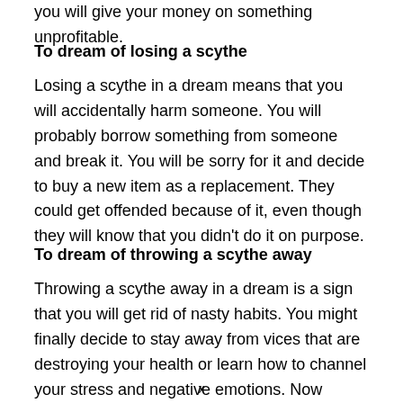you will give your money on something unprofitable.
To dream of losing a scythe
Losing a scythe in a dream means that you will accidentally harm someone. You will probably borrow something from someone and break it. You will be sorry for it and decide to buy a new item as a replacement. They could get offended because of it, even though they will know that you didn't do it on purpose.
To dream of throwing a scythe away
Throwing a scythe away in a dream is a sign that you will get rid of nasty habits. You might finally decide to stay away from vices that are destroying your health or learn how to channel your stress and negative emotions. Now
x